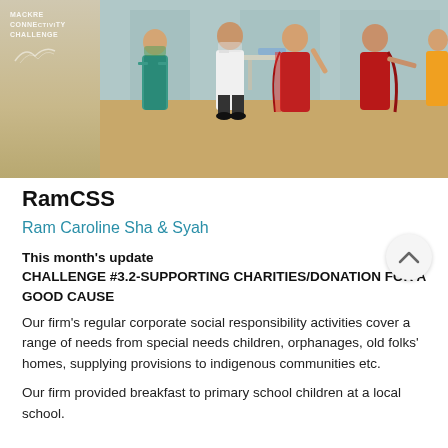[Figure (photo): Group of people standing on a stage/platform in an indoor setting. Some women are wearing colorful Indian saris (red, teal/green, yellow). One person in a white shirt stands centrally. A table is visible in the background. The scene appears to be a charity or community event. A Mackrell Connectivity Challenge logo is visible in the top left corner.]
RamCSS
Ram Caroline Sha & Syah
This month's update
CHALLENGE #3.2-SUPPORTING CHARITIES/DONATION FOR A GOOD CAUSE
Our firm's regular corporate social responsibility activities cover a range of needs from special needs children, orphanages, old folks' homes, supplying provisions to indigenous communities etc.
Our firm provided breakfast to primary school children at a local school.